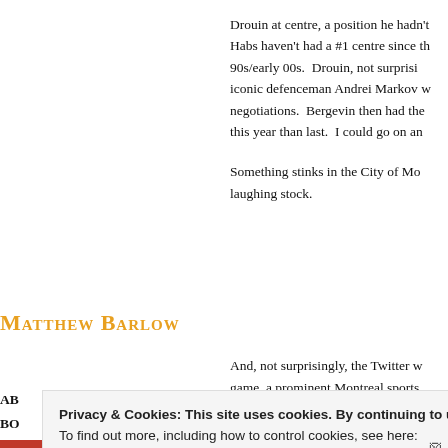Drouin at centre, a position he hadn't Habs haven't had a #1 centre since the 90s/early 00s. Drouin, not surprisingly iconic defenceman Andrei Markov with negotiations. Bergevin then had the this year than last. I could go on and
Something stinks in the City of Mo- laughing stock.
Matthew Barlow
And, not surprisingly, the Twitter w- game, a prominent Montreal sports also not an uncommon occurrence
AB
BO
Privacy & Cookies: This site uses cookies. By continuing to use this website, you agree to their use. To find out more, including how to control cookies, see here: Cookie Policy
Close and accept